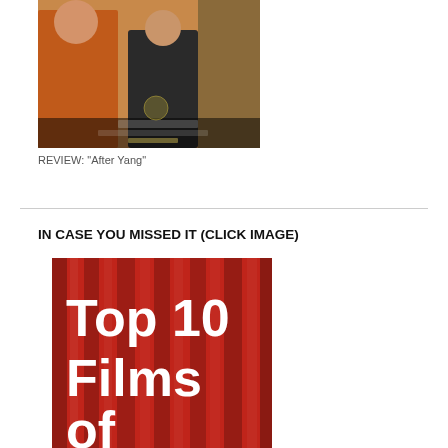[Figure (photo): Movie poster for 'After Yang' showing two figures, one in an orange outfit and one child in a dark traditional outfit, against a warm background]
REVIEW: "After Yang"
IN CASE YOU MISSED IT (CLICK IMAGE)
[Figure (photo): Red theatrical curtain background with bold white text reading 'Top 10 Films of']